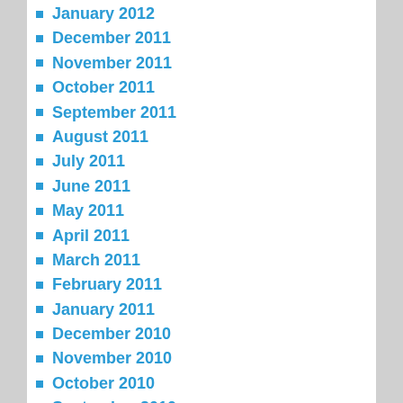January 2012
December 2011
November 2011
October 2011
September 2011
August 2011
July 2011
June 2011
May 2011
April 2011
March 2011
February 2011
January 2011
December 2010
November 2010
October 2010
September 2010
July 2010
June 2010
May 2010
April 2010
March 2010